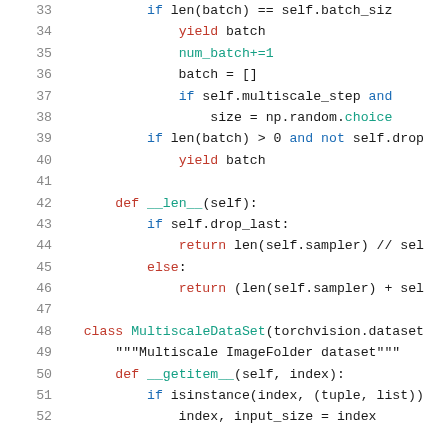[Figure (screenshot): Python source code snippet showing lines 33-52 of a multiscale data loader class, with syntax highlighting: keywords in blue/red/teal, identifiers in black, on white background.]